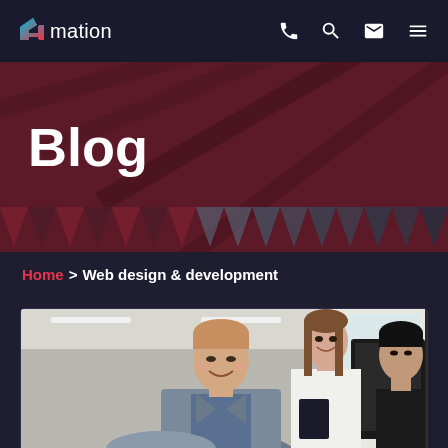4mation — navigation bar with phone, search, email, and menu icons
Blog
Home > Web design & development
[Figure (photo): Three people in an office setting: a smiling man in a grey suit in the foreground, a woman with a notebook smiling behind him, and another person near a computer monitor on the right.]